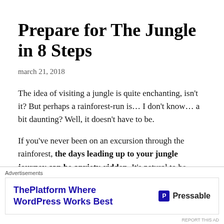Prepare for The Jungle in 8 Steps
march 21, 2018
The idea of visiting a jungle is quite enchanting, isn't it? But perhaps a rainforest-run is… I don't know… a bit daunting? Well, it doesn't have to be.
If you've never been on an excursion through the rainforest, the days leading up to your jungle journey can be anxiety-ridden. It's natural to be nervous before embarking on an experience completely
Advertisements
ThePlatform Where WordPress Works Best   Pressable